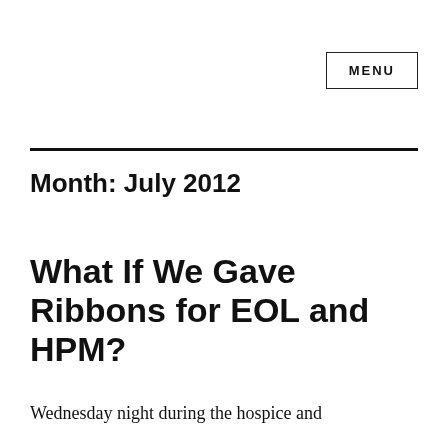MENU
Month: July 2012
What If We Gave Ribbons for EOL and HPM?
Wednesday night during the hospice and